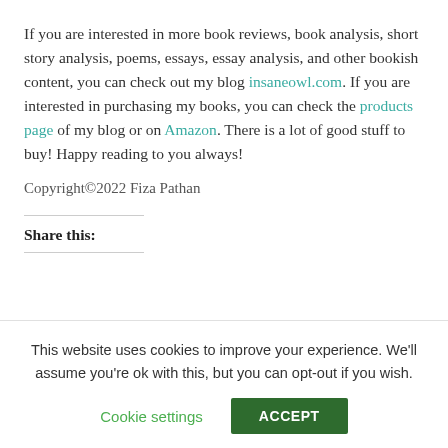If you are interested in more book reviews, book analysis, short story analysis, poems, essays, essay analysis, and other bookish content, you can check out my blog insaneowl.com. If you are interested in purchasing my books, you can check the products page of my blog or on Amazon. There is a lot of good stuff to buy! Happy reading to you always!
Copyright©2022 Fiza Pathan
Share this:
This website uses cookies to improve your experience. We'll assume you're ok with this, but you can opt-out if you wish.
Cookie settings
ACCEPT